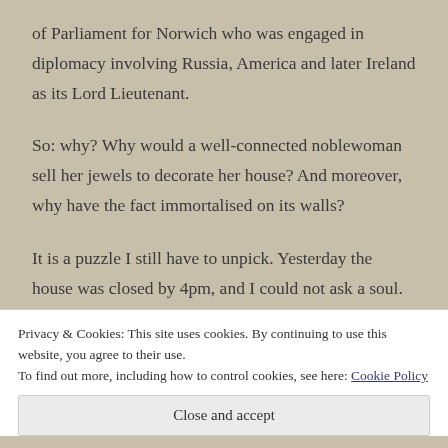of Parliament for Norwich who was engaged in diplomacy involving Russia, America and later Ireland as its Lord Lieutenant.
So: why? Why would a well-connected noblewoman sell her jewels to decorate her house? And moreover, why have the fact immortalised on its walls?
It is a puzzle I still have to unpick. Yesterday the house was closed by 4pm, and I could not ask a soul.
Privacy & Cookies: This site uses cookies. By continuing to use this website, you agree to their use.
To find out more, including how to control cookies, see here: Cookie Policy
Close and accept